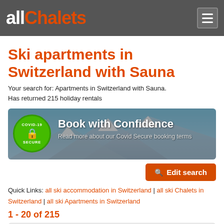allChalets
Ski apartments in Switzerland with Sauna
Your search for: Apartments in Switzerland with Sauna.
Has returned 215 holiday rentals
[Figure (infographic): Book with Confidence banner featuring a COVID-19 Secure badge (green circle) on the left, bold white text 'Book with Confidence' and subtext 'Read more about our Covid Secure booking terms' over a mountain snow background.]
Edit search
Quick Links: all ski accommodation in Switzerland | all ski Chalets in Switzerland | all ski Apartments in Switzerland
1 - 20 of 215
Default sort